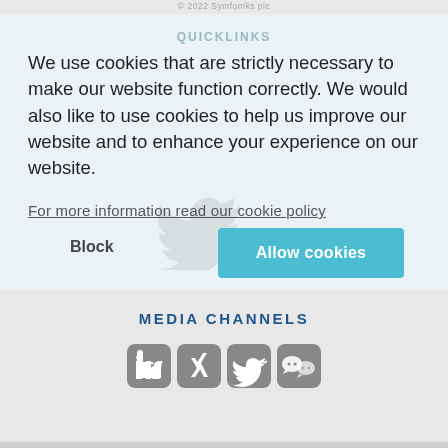© 2022 Symfoniks plc
QUICKLINKS
We use cookies that are strictly necessary to make our website function correctly. We would also like to use cookies to help us improve our website and to enhance your experience on our website.
For more information read our cookie policy
Block
Allow cookies
MEDIA CHANNELS
[Figure (other): Social media icons: LinkedIn, Xing, Twitter, WeChat]